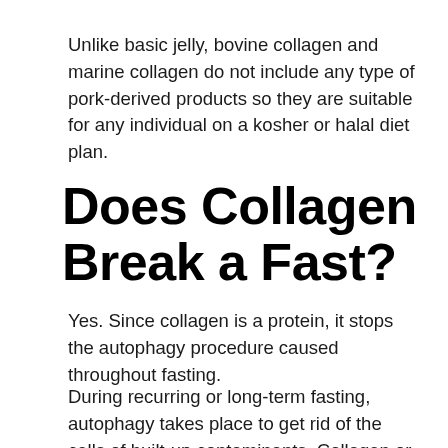Unlike basic jelly, bovine collagen and marine collagen do not include any type of pork-derived products so they are suitable for any individual on a kosher or halal diet plan.
Does Collagen Break a Fast?
Yes. Since collagen is a protein, it stops the autophagy procedure caused throughout fasting.
During recurring or long-term fasting, autophagy takes place to get rid of the cells of built-up contaminants. Collagen or any